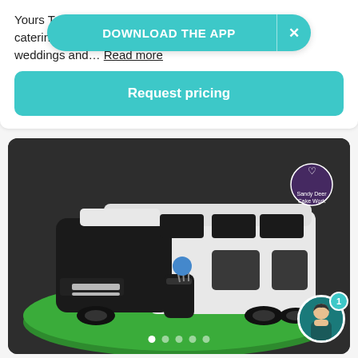Yours Tr... sert catering ... es for weddings and... Read more
DOWNLOAD THE APP   X
Request pricing
[Figure (photo): A detailed fondant/sculpted cake shaped like a black and white Class A motorhome/RV on a green grass-textured round cake board, with miniature golf bag and clubs figurine beside it. Photographed against a dark background. A circular logo watermark is visible in the top right corner.]